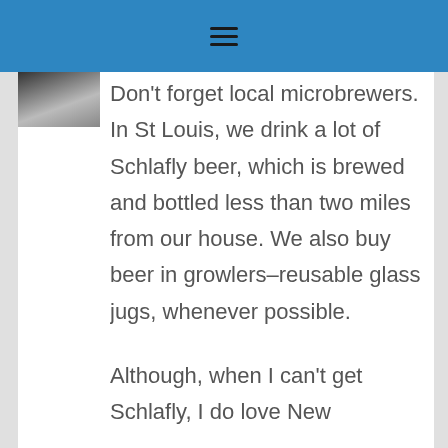☰
[Figure (photo): Small avatar/profile photo in top-left of content area, partially visible]
Don't forget local microbrewers. In St Louis, we drink a lot of Schlafly beer, which is brewed and bottled less than two miles from our house. We also buy beer in growlers–reusable glass jugs, whenever possible.
Although, when I can't get Schlafly, I do love New